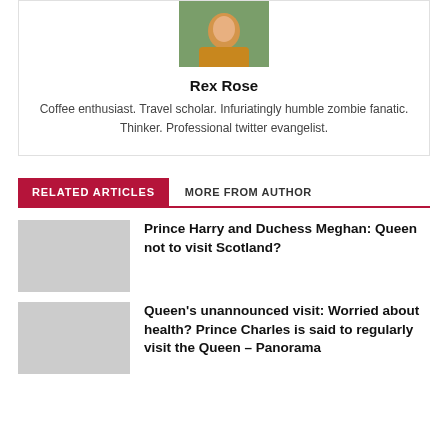[Figure (photo): Author photo of Rex Rose, a person in a yellow/mustard jacket outdoors]
Rex Rose
Coffee enthusiast. Travel scholar. Infuriatingly humble zombie fanatic. Thinker. Professional twitter evangelist.
RELATED ARTICLES
MORE FROM AUTHOR
[Figure (photo): Thumbnail image placeholder for article about Prince Harry and Duchess Meghan]
Prince Harry and Duchess Meghan: Queen not to visit Scotland?
[Figure (photo): Thumbnail image placeholder for article about Queen's unannounced visit]
Queen's unannounced visit: Worried about health? Prince Charles is said to regularly visit the Queen – Panorama